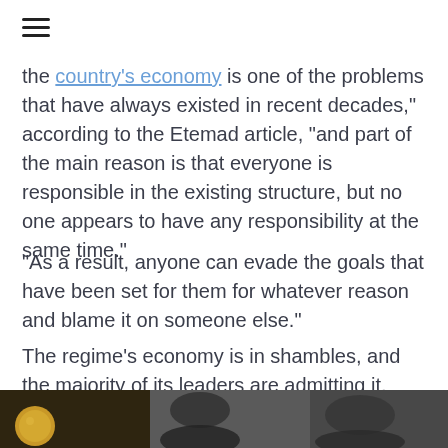the country's economy is one of the problems that have always existed in recent decades," according to the Etemad article, "and part of the main reason is that everyone is responsible in the existing structure, but no one appears to have any responsibility at the same time."
"As a result, anyone can evade the goals that have been set for them for whatever reason and blame it on someone else."
The regime's economy is in shambles, and the majority of its leaders are admitting it. And these confessions reveal the regime's desperation, impasse, and instability.
[Figure (photo): A dark photo strip at the bottom showing what appears to be people or figures, partially visible]